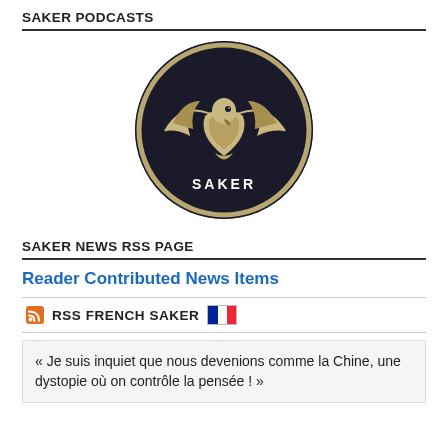SAKER PODCASTS
[Figure (logo): Circular Saker logo: dark navy background with a stylized falcon/saker bird in beige/gold tones, with the word SAKER in white text at the bottom of the circle]
SAKER NEWS RSS PAGE
Reader Contributed News Items
RSS FRENCH SAKER
« Je suis inquiet que nous devenions comme la Chine, une dystopie où on contrôle la pensée ! »